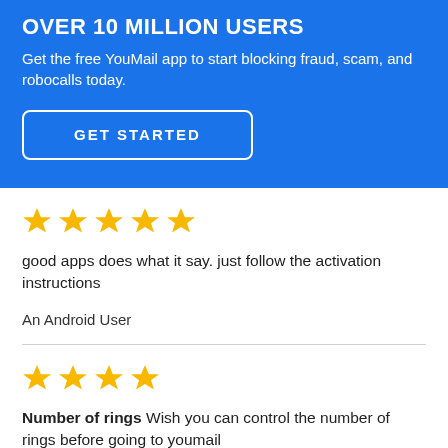OVER 10 MILLION USERS
Get the free YouMail app to start blocking fraud, scam, and robocalls today.
GET STARTED
[Figure (other): Five gold star rating]
good apps does what it say. just follow the activation instructions
An Android User
[Figure (other): Four gold star rating]
Number of rings Wish you can control the number of rings before going to youmail